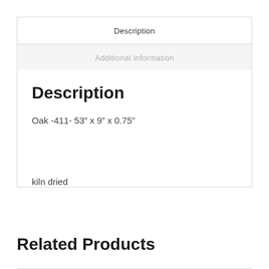Description
Additional information
Description
Oak -411- 53” x 9” x 0.75”
kiln dried
Related Products